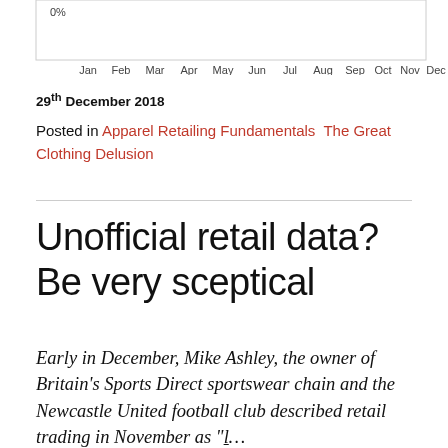[Figure (continuous-plot): Bottom portion of a line chart showing month axis labels (Jan through Dec) and a 0% label on the y-axis]
29th December 2018
Posted in Apparel Retailing Fundamentals  The Great Clothing Delusion
Unofficial retail data? Be very sceptical
Early in December, Mike Ashley, the owner of Britain's Sports Direct sportswear chain and the Newcastle United football club described retail trading in November as "[…